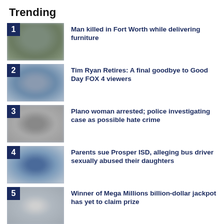Trending
1 Man killed in Fort Worth while delivering furniture
2 Tim Ryan Retires: A final goodbye to Good Day FOX 4 viewers
3 Plano woman arrested; police investigating case as possible hate crime
4 Parents sue Prosper ISD, alleging bus driver sexually abused their daughters
5 Winner of Mega Millions billion-dollar jackpot has yet to claim prize